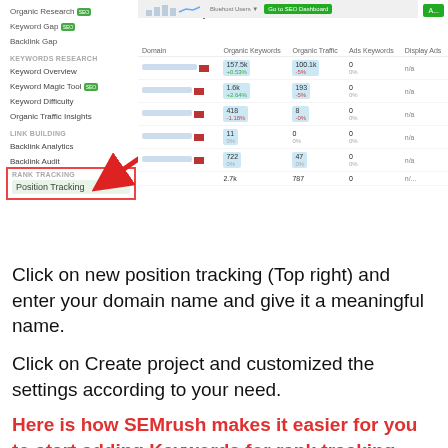[Figure (screenshot): SEMrush Domain Analytics dashboard screenshot with left sidebar navigation showing Keyword Research and Link Building sections, and a highlighted 'RANK TRACKING / Position Tracking' box with a red arrow pointing to it. The main panel shows a Domain Analytics table with columns for Domain, Organic Keywords, Organic Traffic, Ads Keywords, and Display Ads, with several rows of data.]
Click on new position tracking (Top right) and enter your domain name and give it a meaningful name.
Click on Create project and customized the settings according to your need.
Here is how SEMrush makes it easier for you to start adding Keywords for rank tracking. You can